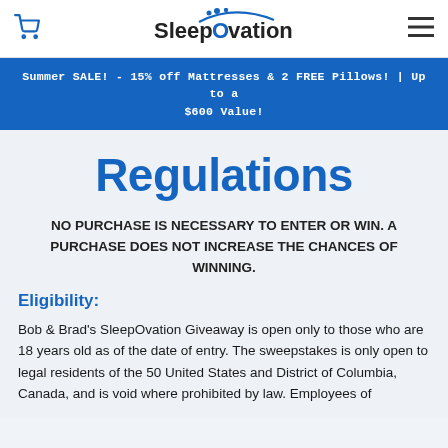SleepOvation
Summer SALE! - 15% off Mattresses & 2 FREE Pillows! | Up to a $600 Value!
Regulations
NO PURCHASE IS NECESSARY TO ENTER OR WIN. A PURCHASE DOES NOT INCREASE THE CHANCES OF WINNING.
Eligibility:
Bob & Brad's SleepOvation Giveaway is open only to those who are 18 years old as of the date of entry. The sweepstakes is only open to legal residents of the 50 United States and District of Columbia, Canada, and is void where prohibited by law. Employees of